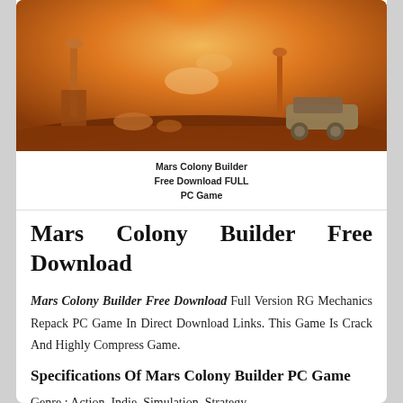[Figure (illustration): Mars colony scene with orange/red sky, futuristic structures, and a large rover vehicle on the Martian surface with explosions or launch activity in the background]
Mars Colony Builder Free Download FULL PC Game
Mars Colony Builder Free Download
Mars Colony Builder Free Download Full Version RG Mechanics Repack PC Game In Direct Download Links. This Game Is Crack And Highly Compress Game.
Specifications Of Mars Colony Builder PC Game
Genre : Action, Indie, Simulation, Strategy